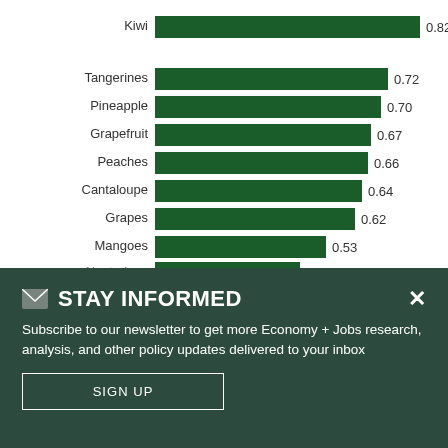[Figure (bar-chart): Fruit chart]
✉ STAY INFORMED
Subscribe to our newsletter to get more Economy + Jobs research, analysis, and other policy updates delivered to your inbox
SIGN UP